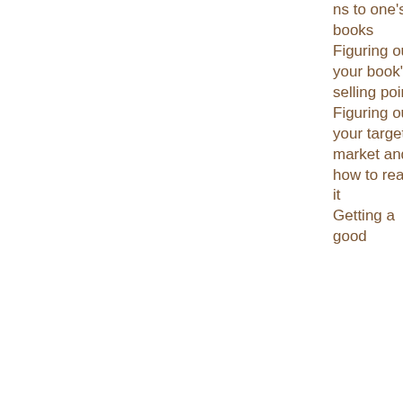ns to one's books
Figuring out your book's selling points
Figuring out your target market and how to reach it
Getting a good